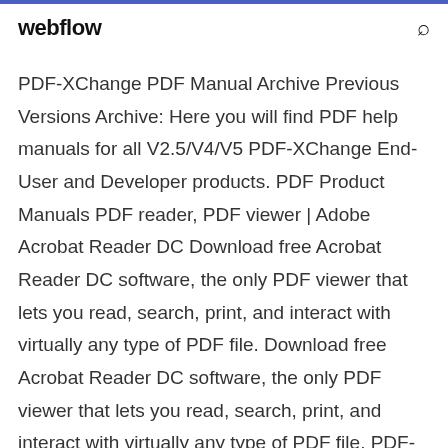webflow
PDF-XChange PDF Manual Archive Previous Versions Archive: Here you will find PDF help manuals for all V2.5/V4/V5 PDF-XChange End-User and Developer products. PDF Product Manuals PDF reader, PDF viewer | Adobe Acrobat Reader DC Download free Acrobat Reader DC software, the only PDF viewer that lets you read, search, print, and interact with virtually any type of PDF file. Download free Acrobat Reader DC software, the only PDF viewer that lets you read, search, print, and interact with virtually any type of PDF file. PDF-XChange Viewer App for PC Windows 10 Latest Version 2020 PDF-XChange Viewer for PC –